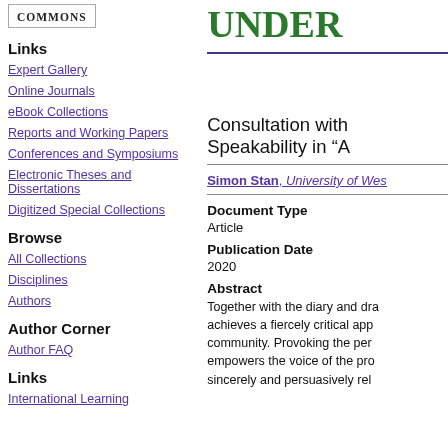[Figure (logo): Scholarship Commons logo with text 'COMMONS' in a bordered box]
UNDER
Links
Expert Gallery
Online Journals
eBook Collections
Reports and Working Papers
Conferences and Symposiums
Electronic Theses and Dissertations
Digitized Special Collections
Browse
All Collections
Disciplines
Authors
Author Corner
Author FAQ
Links
International Learning
Consultation with Speakability in “A
Simon Stan, University of Wes
Document Type
Article
Publication Date
2020
Abstract
Together with the diary and dra achieves a fiercely critical app community. Provoking the per empowers the voice of the pro sincerely and persuasively rel